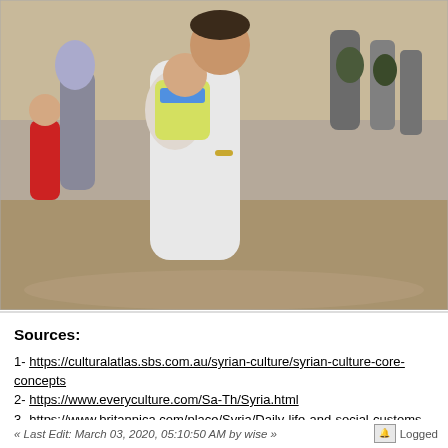[Figure (photo): Photograph of refugees or migrants walking, a person in the foreground holding a baby with a diaper pack, others with backpacks visible in the background on dusty terrain.]
Sources:
1- https://culturalatlas.sbs.com.au/syrian-culture/syrian-culture-core-concepts
2- https://www.everyculture.com/Sa-Th/Syria.html
3- https://www.britannica.com/place/Syria/Daily-life-and-social-customs
4- https://www.iexplore.com/articles/travel-guides/middle-east/syria/history-and-culture
5- https://www.heritageforpeace.org/syria-culture-and-heritage/
6- https://www.shutterstock.com/tr/search/syrian+culture
7- https: Open sources
8- wikileaks
« Last Edit: March 03, 2020, 05:10:50 AM by wise »    Logged